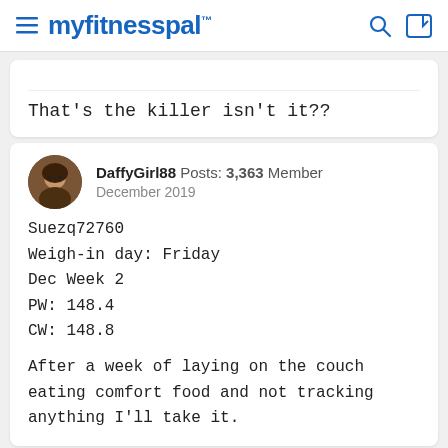myfitnesspal
That's the killer isn't it??
DaffyGirl88 Posts: 3,363 Member
December 2019
Suezq72760
Weigh-in day: Friday
Dec Week 2
PW: 148.4
CW: 148.8

After a week of laying on the couch eating comfort food and not tracking anything I'll take it.